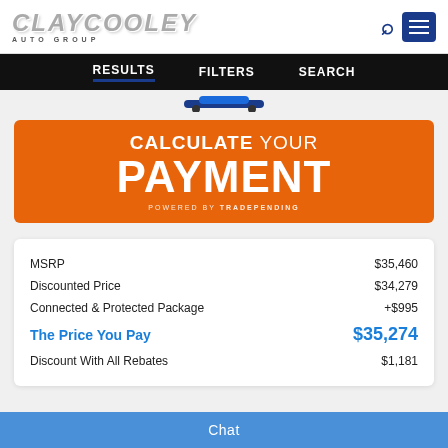[Figure (logo): Clay Cooley Auto Group logo with silver/gray italic text and 'AUTO GROUP' subtitle]
RESULTS   FILTERS   SEARCH
[Figure (illustration): Partial view of a blue car roof strip]
[Figure (infographic): Orange banner: CALCULATE YOUR PAYMENT POWERED BY TRADEPENDING]
|  |  |
| --- | --- |
| MSRP | $35,460 |
| Discounted Price | $34,279 |
| Connected & Protected Package | +$995 |
| The Price You Pay | $35,274 |
| Discount With All Rebates | $1,181 |
Chat